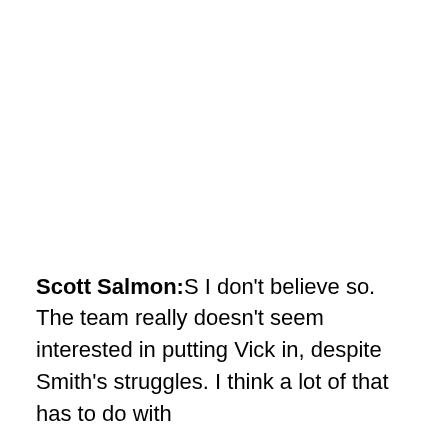Scott Salmon: S I don't believe so. The team really doesn't seem interested in putting Vick in, despite Smith's struggles. I think a lot of that has to do with